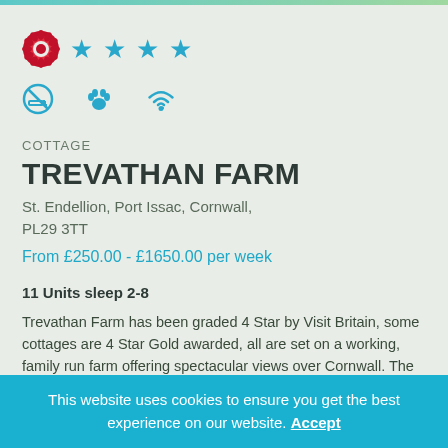[Figure (logo): Visit Britain rosette logo icon and 4 blue stars rating]
[Figure (infographic): Amenity icons: no smoking, pets allowed, WiFi]
COTTAGE
TREVATHAN FARM
St. Endellion, Port Issac, Cornwall, PL29 3TT
From £250.00 - £1650.00 per week
11 Units sleep 2-8
Trevathan Farm has been graded 4 Star by Visit Britain, some cottages are 4 Star Gold awarded, all are set on a working, family run farm offering spectacular views over Cornwall. The cottages have fully equipped kitchens, and each lounge
This website uses cookies to ensure you get the best experience on our website. Accept